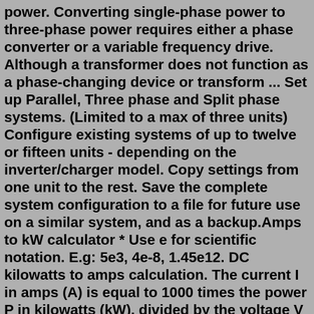power. Converting single-phase power to three-phase power requires either a phase converter or a variable frequency drive. Although a transformer does not function as a phase-changing device or transform ... Set up Parallel, Three phase and Split phase systems. (Limited to a max of three units) Configure existing systems of up to twelve or fifteen units - depending on the inverter/charger model. Copy settings from one unit to the rest. Save the complete system configuration to a file for future use on a similar system, and as a backup.Amps to kW calculator * Use e for scientific notation. E.g: 5e3, 4e-8, 1.45e12. DC kilowatts to amps calculation. The current I in amps (A) is equal to 1000 times the power P in kilowatts (kW), divided by the voltage V in volts (V):. I (A) = 1000 × P (kW) / V (V). AC single phase kilowatts to amps calculationConvert three phase power to DC output using a Bridge Rectifier. AC output wind turbines require a three phase bridge rectifier for charging a battery bank. We recommend using spade terminals or box lugs and dielectric grease for best